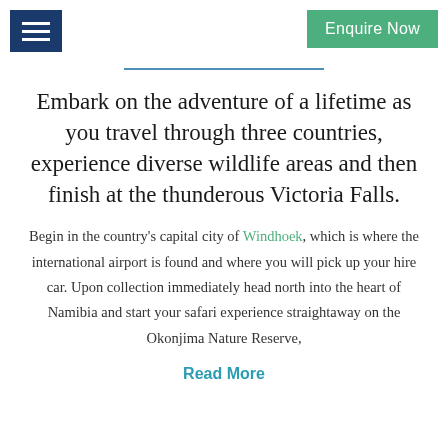Enquire Now
Embark on the adventure of a lifetime as you travel through three countries, experience diverse wildlife areas and then finish at the thunderous Victoria Falls.
Begin in the country's capital city of Windhoek, which is where the international airport is found and where you will pick up your hire car. Upon collection immediately head north into the heart of Namibia and start your safari experience straightaway on the Okonjima Nature Reserve,
Read More